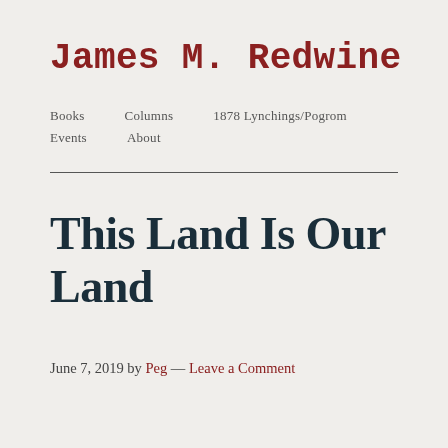James M. Redwine
Books   Columns   1878 Lynchings/Pogrom   Events   About
This Land Is Our Land
June 7, 2019 by Peg — Leave a Comment